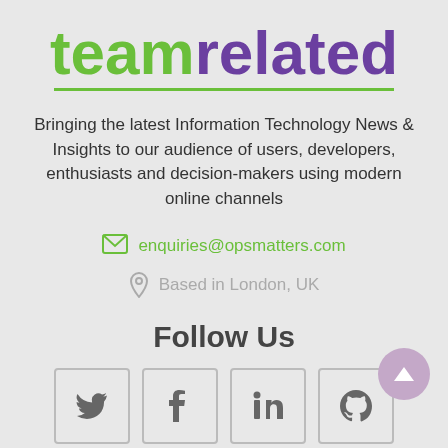[Figure (logo): teamrelated logo with 'team' in green and 'related' in purple, with a green underline]
Bringing the latest Information Technology News & Insights to our audience of users, developers, enthusiasts and decision-makers using modern online channels
enquiries@opsmatters.com
Based in London, UK
Follow Us
[Figure (illustration): Four social media icon boxes: Twitter, Facebook, LinkedIn, GitHub]
Resources